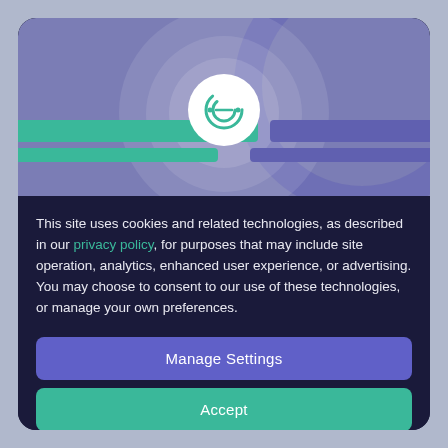[Figure (screenshot): Cookie consent dialog with a purple/teal decorative banner at top containing a circular logo icon, followed by a dark navy background with cookie policy text and three buttons: Manage Settings, Accept, and Decline All.]
This site uses cookies and related technologies, as described in our privacy policy, for purposes that may include site operation, analytics, enhanced user experience, or advertising. You may choose to consent to our use of these technologies, or manage your own preferences.
Manage Settings
Accept
Decline All